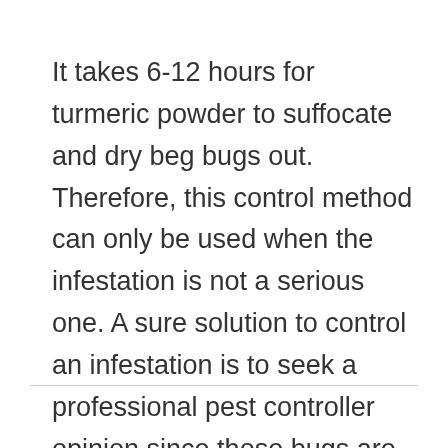It takes 6-12 hours for turmeric powder to suffocate and dry beg bugs out. Therefore, this control method can only be used when the infestation is not a serious one. A sure solution to control an infestation is to seek a professional pest controller opinion since those bugs are tough and some may survive your DIY solutions.